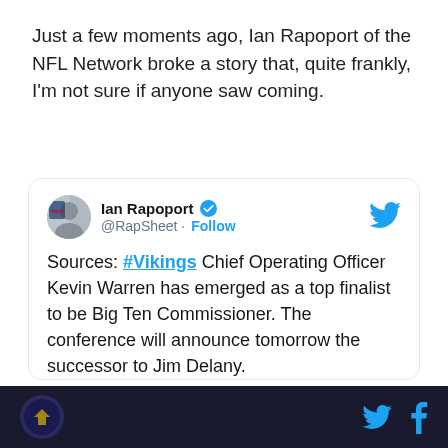Just a few moments ago, Ian Rapoport of the NFL Network broke a story that, quite frankly, I'm not sure if anyone saw coming.
[Figure (screenshot): Embedded tweet from @RapSheet (Ian Rapoport) stating: Sources: #Vikings Chief Operating Officer Kevin Warren has emerged as a top finalist to be Big Ten Commissioner. The conference will announce tomorrow the successor to Jim Delany. Posted at 1:30 AM · Jun 4, 2019.]
Twitter and Facebook share icons in footer